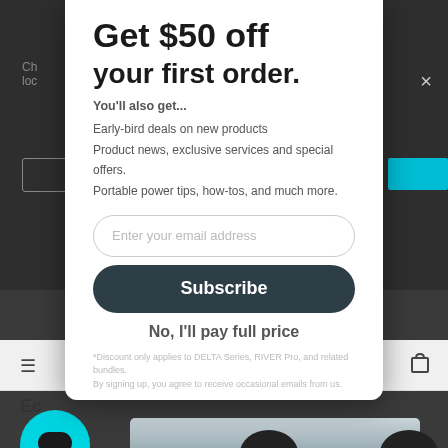Get $50 off your first order.
You'll also get...
Early-bird deals on new products
Product news, exclusive services and special offers.
Portable power tips, how-tos, and much more.
Enter your email address
Subscribe
No, I'll pay full price
*Discount only applies to DELTA Series, RIVER Pro, and related bundles. By signing up, you agree to receive occasional emails from us.